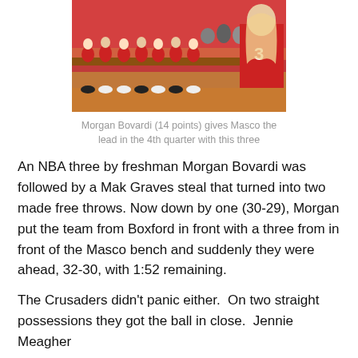[Figure (photo): Basketball team bench scene; players in red uniforms seated on bench, player #3 in red jersey visible in foreground on right]
Morgan Bovardi (14 points) gives Masco the lead in the 4th quarter with this three
An NBA three by freshman Morgan Bovardi was followed by a Mak Graves steal that turned into two made free throws. Now down by one (30-29), Morgan put the team from Boxford in front with a three from in front of the Masco bench and suddenly they were ahead, 32-30, with 1:52 remaining.
The Crusaders didn't panic either.  On two straight possessions they got the ball in close.  Jennie Meagher